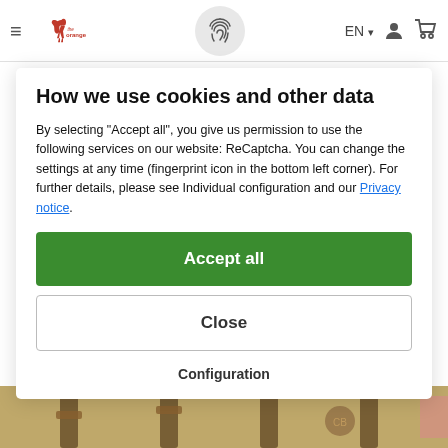≡  the orange  EN  [user] [cart]
How we use cookies and other data
By selecting "Accept all", you give us permission to use the following services on our website: ReCaptcha. You can change the settings at any time (fingerprint icon in the bottom left corner). For further details, please see Individual configuration and our Privacy notice.
Accept all
Close
Configuration
[Figure (photo): Bottom portion of a product image showing a beige/tan bag with straps]